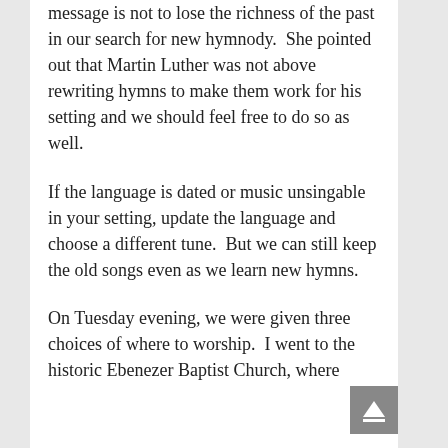message is not to lose the richness of the past in our search for new hymnody.  She pointed out that Martin Luther was not above rewriting hymns to make them work for his setting and we should feel free to do so as well.
If the language is dated or music unsingable in your setting, update the language and choose a different tune.  But we can still keep the old songs even as we learn new hymns.
On Tuesday evening, we were given three choices of where to worship.  I went to the historic Ebenezer Baptist Church, where